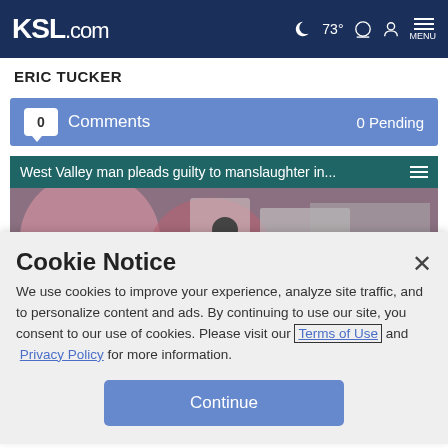KSL.com  73°  MENU
ERIC TUCKER
0 Comments  0 Pending
[Figure (screenshot): Video thumbnail showing 'West Valley man pleads guilty to manslaughter in...' with a scene of police officers and a muted video button]
Cookie Notice
We use cookies to improve your experience, analyze site traffic, and to personalize content and ads. By continuing to use our site, you consent to our use of cookies. Please visit our Terms of Use and Privacy Policy for more information.
Continue